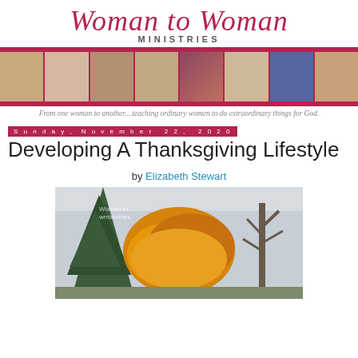[Figure (logo): Woman to Woman Ministries logo with script text and MINISTRIES subtitle]
[Figure (photo): Photo strip of diverse women portraits with dark pink/maroon accent bar]
From one woman to another....teaching ordinary women to do extraordinary things for God.
Sunday, November 22, 2020
Developing A Thanksgiving Lifestyle
by Elizabeth Stewart
[Figure (photo): Autumn trees with orange and yellow foliage against overcast sky]